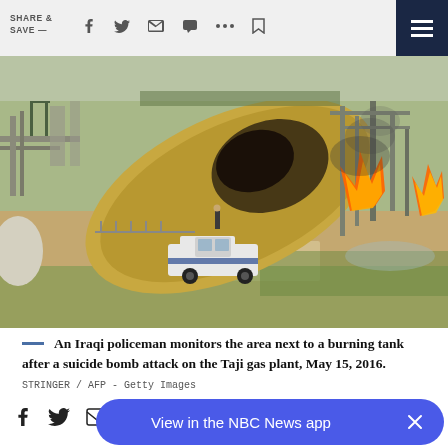SHARE & SAVE —
[Figure (photo): An Iraqi policeman monitors the area next to a burning gas storage tank at the Taji gas plant after a suicide bomb attack, May 15, 2016. A white pickup truck is in the foreground with flames visible in the background amid industrial infrastructure.]
An Iraqi policeman monitors the area next to a burning tank after a suicide bomb attack on the Taji gas plant, May 15, 2016.  STRINGER / AFP - Getty Images
View in the NBC News app